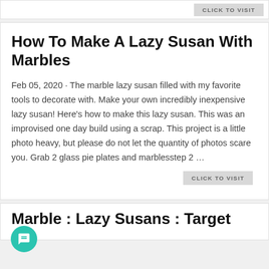CLICK TO VISIT
How To Make A Lazy Susan With Marbles
Feb 05, 2020 · The marble lazy susan filled with my favorite tools to decorate with. Make your own incredibly inexpensive lazy susan! Here's how to make this lazy susan. This was an improvised one day build using a scrap. This project is a little photo heavy, but please do not let the quantity of photos scare you. Grab 2 glass pie plates and marblesstep 2 …
CLICK TO VISIT
Marble : Lazy Susans : Target